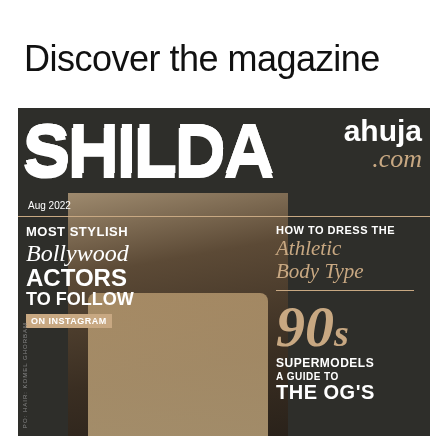Discover the magazine
[Figure (photo): Magazine cover of Shilpa Ahuja featuring a male Bollywood actor in a beige shirt with a beard, posing with hand near chin. Dark background. Cover text includes: SHILPA ahuja .com, Aug 2022, Most Stylish Bollywood Actors To Follow On Instagram, How To Dress The Athletic Body Type, 90s Supermodels A Guide To The OG's]